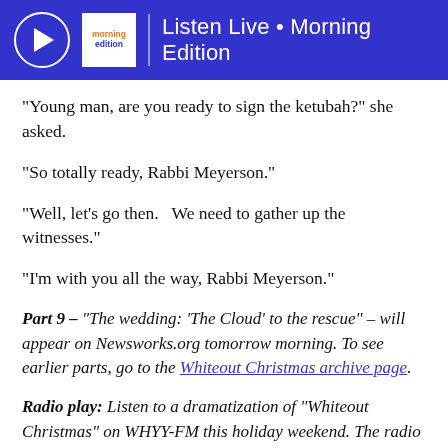Listen Live • Morning Edition
“Young man, are you ready to sign the ketubah?” she asked.
“So totally ready, Rabbi Meyerson.”
“Well, let’s go then.   We need to gather up the witnesses.”
“I’m with you all the way, Rabbi Meyerson.”
Part 9 – “The wedding: ‘The Cloud’ to the rescue” – will appear on Newsworks.org tomorrow morning. To see earlier parts, go to the Whiteout Christmas archive page.
Radio play: Listen to a dramatization of “Whiteout Christmas” on WHYY-FM this holiday weekend. The radio